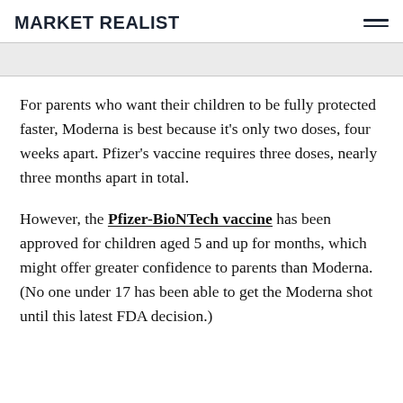MARKET REALIST
For parents who want their children to be fully protected faster, Moderna is best because it's only two doses, four weeks apart. Pfizer's vaccine requires three doses, nearly three months apart in total.
However, the Pfizer-BioNTech vaccine has been approved for children aged 5 and up for months, which might offer greater confidence to parents than Moderna. (No one under 17 has been able to get the Moderna shot until this latest FDA decision.)